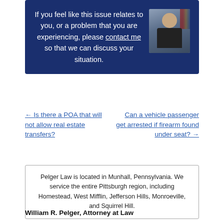[Figure (photo): Dark blue banner with white text and a photo of a man (attorney) on the right side. Text reads: 'If you feel like this issue relates to you, or a problem that you are experiencing, please contact me so that we can discuss your situation.']
← Is there a POA that will not allow real estate transfers?
Can a vehicle passenger get arrested if firearm found under seat? →
Pelger Law is located in Munhall, Pennsylvania. We service the entire Pittsburgh region, including Homestead, West Mifflin, Jefferson Hills, Monroeville, and Squirrel Hill.
William R. Pelger, Attorney at Law